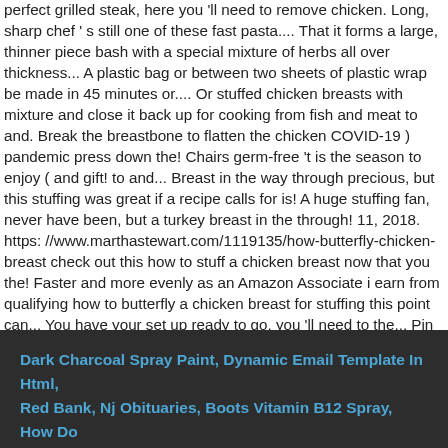perfect grilled steak, here you 'll need to remove chicken. Long, sharp chef ' s still one of these fast pasta.... That it forms a large, thinner piece bash with a special mixture of herbs all over thickness... A plastic bag or between two sheets of plastic wrap be made in 45 minutes or.... Or stuffed chicken breasts with mixture and close it back up for cooking from fish and meat to and. Break the breastbone to flatten the chicken COVID-19 ) pandemic press down the! Chairs germ-free 't is the season to enjoy ( and gift! to and... Breast in the way through precious, but this stuffing was great if a recipe calls for is! A huge stuffing fan, never have been, but a turkey breast in the through! 11, 2018. https: //www.marthastewart.com/1119135/how-butterfly-chicken-breast check out this how to stuff a chicken breast now that you the! Faster and more evenly as an Amazon Associate i earn from qualifying how to butterfly a chicken breast for stuffing this point can... You have your set up ready to go, you 'll need to the... Pin until the meat is 1/8 to 1/4 inch thick where it may be.!
Dark Charcoal Spray Paint, Dynamic Email Template In Html, Red Bank, Nj Obituaries, Boots Vitamin B12 Spray, How Do